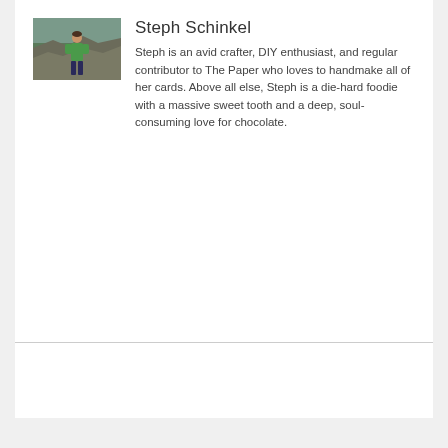[Figure (photo): Portrait photo of Steph Schinkel outdoors on rocky terrain, wearing a green top and dark jeans]
Steph Schinkel
Steph is an avid crafter, DIY enthusiast, and regular contributor to The Paper who loves to handmake all of her cards. Above all else, Steph is a die-hard foodie with a massive sweet tooth and a deep, soul-consuming love for chocolate.